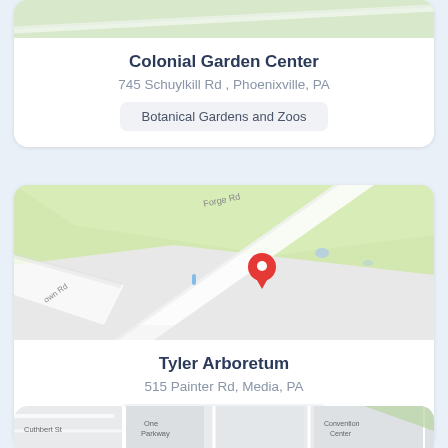[Figure (map): Partial map snippet at top of page (clipped, showing green/light area, top of card 1)]
Colonial Garden Center
745 Schuylkill Rd , Phoenixville, PA
Botanical Gardens and Zoos
[Figure (map): Map showing Tyler Arboretum location with red location pin, Forge Rd label, green wooded area, roads including Painter Rd and Town Rd]
Tyler Arboretum
515 Painter Rd, Media, PA
Botanical Gardens and Zoos
[Figure (map): Partial map at bottom of page showing Cuthbert St, One Parkway, Convention Center labels (clipped)]